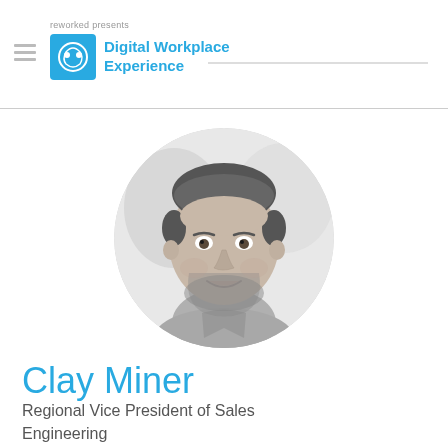reworked presents Digital Workplace Experience
[Figure (photo): Black and white circular headshot of Clay Miner, a young man with short hair and a beard, smiling]
Clay Miner
Regional Vice President of Sales Engineering
Pendo.io